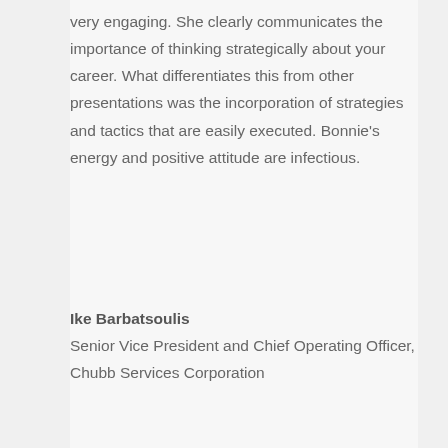very engaging. She clearly communicates the importance of thinking strategically about your career. What differentiates this from other presentations was the incorporation of strategies and tactics that are easily executed. Bonnie's energy and positive attitude are infectious.
Ike Barbatsoulis
Senior Vice President and Chief Operating Officer, Chubb Services Corporation